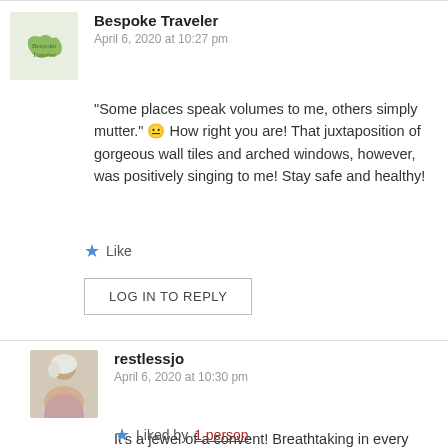[Figure (photo): Avatar image for Bespoke Traveler — green illustrated world map logo with text]
Bespoke Traveler
April 6, 2020 at 10:27 pm
“Some places speak volumes to me, others simply mutter.” 😐 How right you are! That juxtaposition of gorgeous wall tiles and arched windows, however, was positively singing to me! Stay safe and healthy!
★ Like
LOG IN TO REPLY
[Figure (photo): Avatar photo of restlessjo — older woman with light hair outdoors]
restlessjo
April 6, 2020 at 10:30 pm
It's a jewel of a convent! Breathtaking in every respect. Sending hugs, darlin!
★ Liked by 1 person